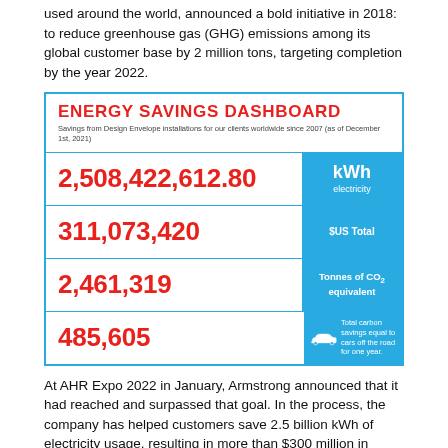used around the world, announced a bold initiative in 2018: to reduce greenhouse gas (GHG) emissions among its global customer base by 2 million tons, targeting completion by the year 2022.
[Figure (infographic): Energy Savings Dashboard showing savings from Design Envelope installations for clients worldwide since 2007 (as of December 1st, 2021). Four metrics: 2,508,422,612.80 kWh electricity; 311,073,420 $US Total; 2,461,319 Tonnes of CO2 equivalent; 485,605 Total carbon savings equal to cars off the road for one year.]
At AHR Expo 2022 in January, Armstrong announced that it had reached and surpassed that goal. In the process, the company has helped customers save 2.5 billion kWh of electricity usage, resulting in more than $300 million in energy costs savings. Achieving this goal